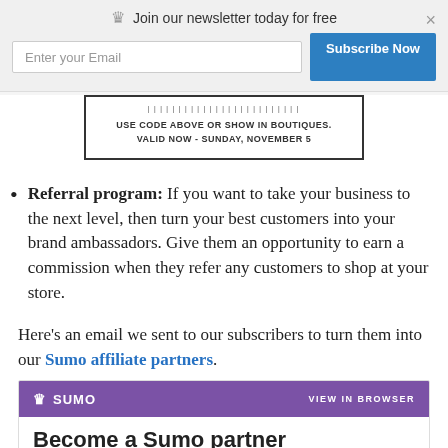[Figure (screenshot): Newsletter subscription bar overlay with crown icon, 'Join our newsletter today for free' text, email input field, Subscribe Now button, and close X button]
[Figure (other): Coupon box with barcode and text: USE CODE ABOVE OR SHOW IN BOUTIQUES. VALID NOW - SUNDAY, NOVEMBER 5]
Referral program: If you want to take your business to the next level, then turn your best customers into your brand ambassadors. Give them an opportunity to earn a commission when they refer any customers to shop at your store.
Here’s an email we sent to our subscribers to turn them into our Sumo affiliate partners.
[Figure (screenshot): Sumo email header with purple background, Sumo logo with crown icon, VIEW IN BROWSER link, and beginning of email body with 'Become a Sumo partner' title]